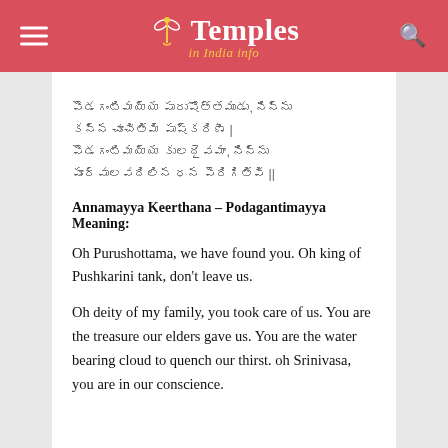Temples in India info
పొడగంటిమయ్య పురుషోత్తముడు, నిన్ను కన్నారా చూచితిమి పుష్కరిణీ | పొడగంటిమయ్య కులదైవమా, నిన్ను పూర్వులు వదిలిన ధనమై పెరిగితివి ||
Annamayya Keerthana – Podagantimayya Meaning:
Oh Purushottama, we have found you. Oh king of Pushkarini tank, don't leave us.
Oh deity of my family, you took care of us. You are the treasure our elders gave us. You are the water bearing cloud to quench our thirst. oh Srinivasa, you are in our conscience.